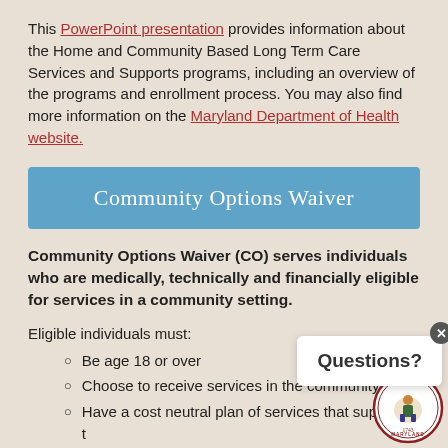This PowerPoint presentation provides information about the Home and Community Based Long Term Care Services and Supports programs, including an overview of the programs and enrollment process. You may also find more information on the Maryland Department of Health website.
Community Options Waiver
Community Options Waiver (CO) serves individuals who are medically, technically and financially eligible for services in a community setting.
Eligible individuals must:
Be age 18 or over
Choose to receive services in the community
Have a cost neutral plan of services that supports the individual living safely in the community